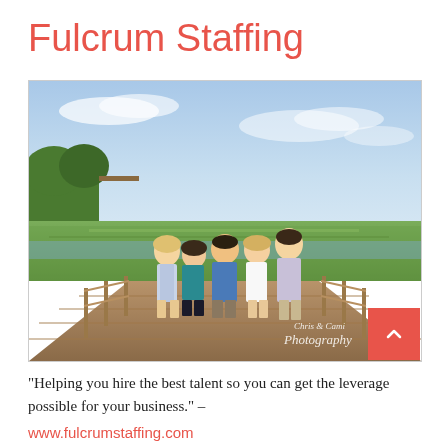Fulcrum Staffing
[Figure (photo): Five people standing together on a wooden boardwalk with green marshland and blue sky in the background. A watermark reads 'Chris & Cami Photography' in the bottom right corner.]
"Helping you hire the best talent so you can get the leverage possible for your business." –
www.fulcrumstaffing.com